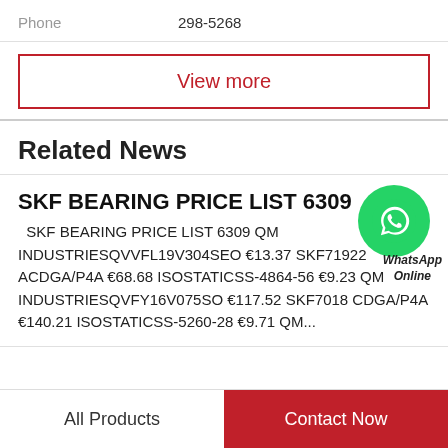Phone   298-5268
View more
Related News
SKF BEARING PRICE LIST 6309
SKF BEARING PRICE LIST 6309 QM INDUSTRIESQVVFL19V304SEO €13.37 SKF71922 ACDGA/P4A €68.68 ISOSTATICSS-4864-56 €9.23 QM INDUSTRIESQVFY16V075SO €117.52 SKF7018 CDGA/P4A €140.21 ISOSTATICSS-5260-28 €9.71 QM...
All Products
Contact Now